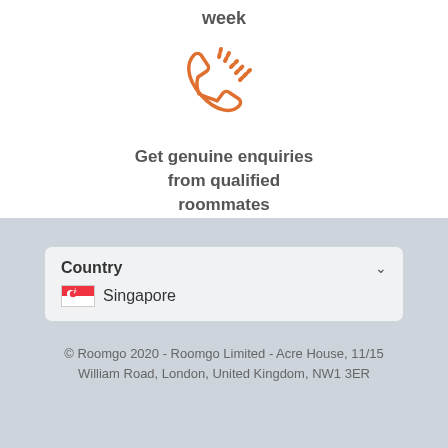week
[Figure (illustration): Orange phone/telephone ringing icon with signal lines]
Get genuine enquiries from qualified roommates
Country Singapore
© Roomgo 2020 - Roomgo Limited - Acre House, 11/15 William Road, London, United Kingdom, NW1 3ER